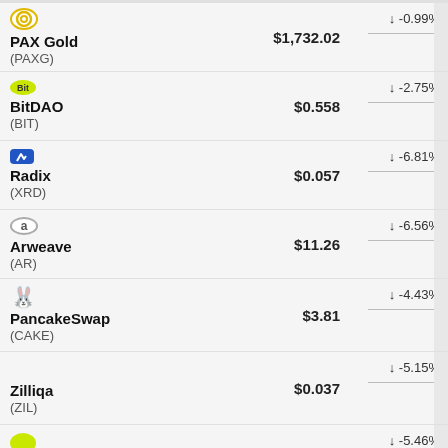| Coin | Price | Change |
| --- | --- | --- |
| PAX Gold (PAXG) | $1,732.02 | ↓ -0.99% |
| BitDAO (BIT) | $0.558 | ↓ -2.75% |
| Radix (XRD) | $0.057 | ↓ -6.81% |
| Arweave (AR) | $11.26 | ↓ -6.56% |
| PancakeSwap (CAKE) | $3.81 | ↓ -4.43% |
| Zilliqa (ZIL) | $0.037 | ↓ -5.15% |
| (unknown) |  | ↓ -5.46% |